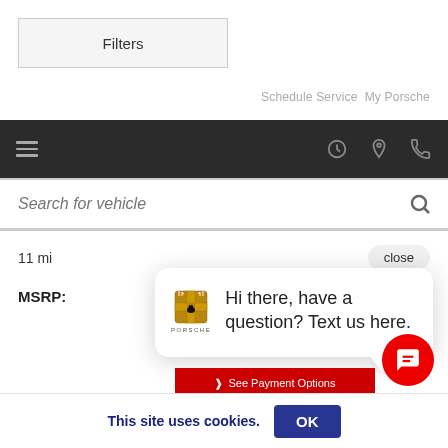Filters
Schedule Service  My Porsche
[Figure (screenshot): Dark navigation bar with hamburger menu icon on the left and clock, location pin, and phone icons on the right]
Search for vehicle
11 mi
close
MSRP:
[Figure (screenshot): Chat popup with Porsche crest logo and text: Hi there, have a question? Text us here.]
See Payment Options
This site uses cookies.
OK